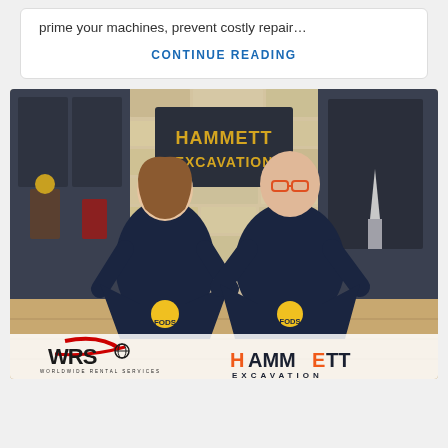prime your machines, prevent costly repair…
CONTINUE READING
[Figure (photo): Two people standing inside a Hammett Excavation office lobby, each holding up a navy blue FODS t-shirt with a sunflower logo. A Hammett Excavation sign hangs on the stone wall behind them. At the bottom of the image are logos for WRS (Worldwide Rental Services) on the left and Hammett Excavation on the right.]